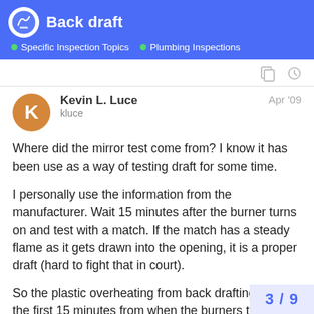Back draft
Specific Inspection Topics • Plumbing Inspections
Kevin L. Luce
kluce
Apr '09
Where did the mirror test come from? I know it has been use as a way of testing draft for some time.
I personally use the information from the manufacturer. Wait 15 minutes after the burner turns on and test with a match. If the match has a steady flame as it gets drawn into the opening, it is a proper draft (hard to fight that in court).
So the plastic overheating from back drafting during the first 15 minutes from when the burners turn on can be a possibility. Indirectly, the manufacturer does considered that acceptable.
Is that flue supported properly?
3 / 9